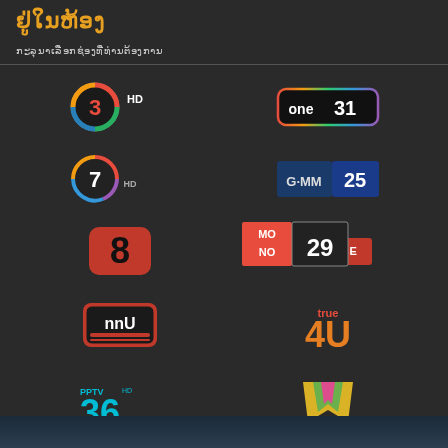ຢູ່ໃນຫ້ອງ
ກະລຸນາເລືອກຊ່ອງທີ່ທ່ານຕ້ອງການ
[Figure (logo): Channel 3 HD logo]
[Figure (logo): one31 logo]
[Figure (logo): Channel 7 HD logo]
[Figure (logo): GMM 25 logo]
[Figure (logo): Channel 8 logo]
[Figure (logo): X CLOSE button]
[Figure (logo): MONO 29 logo]
[Figure (logo): Thai PBS / nnu5 logo]
[Figure (logo): True 4U logo]
[Figure (logo): PPTV HD 36 logo]
[Figure (logo): Workpoint TV logo]
ຂ່ານລາຍການ